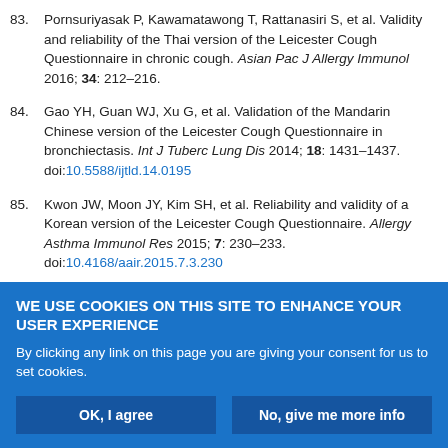83. Pornsuriyasak P, Kawamatawong T, Rattanasiri S, et al. Validity and reliability of the Thai version of the Leicester Cough Questionnaire in chronic cough. Asian Pac J Allergy Immunol 2016; 34: 212–216.
84. Gao YH, Guan WJ, Xu G, et al. Validation of the Mandarin Chinese version of the Leicester Cough Questionnaire in bronchiectasis. Int J Tuberc Lung Dis 2014; 18: 1431–1437. doi:10.5588/ijtld.14.0195
85. Kwon JW, Moon JY, Kim SH, et al. Reliability and validity of a Korean version of the Leicester Cough Questionnaire. Allergy Asthma Immunol Res 2015; 7: 230–233. doi:10.4168/aair.2015.7.3.230
WE USE COOKIES ON THIS SITE TO ENHANCE YOUR USER EXPERIENCE
By clicking any link on this page you are giving your consent for us to set cookies.